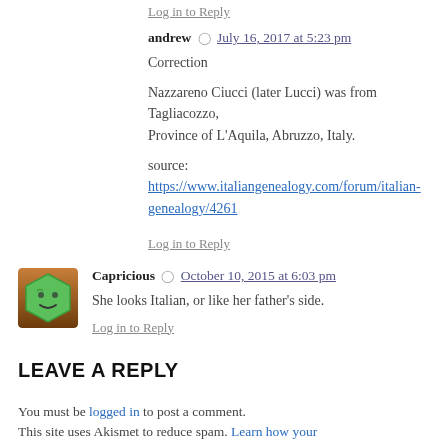Log in to Reply
andrew  July 16, 2017 at 5:23 pm
Correction
Nazzareno Ciucci (later Lucci) was from Tagliacozzo, Province of L'Aquila, Abruzzo, Italy.
source: https://www.italiangenealogy.com/forum/italian-genealogy/4261
Log in to Reply
Capricious  October 10, 2015 at 6:03 pm
She looks Italian, or like her father's side.
Log in to Reply
LEAVE A REPLY
You must be logged in to post a comment. This site uses Akismet to reduce spam. Learn how your